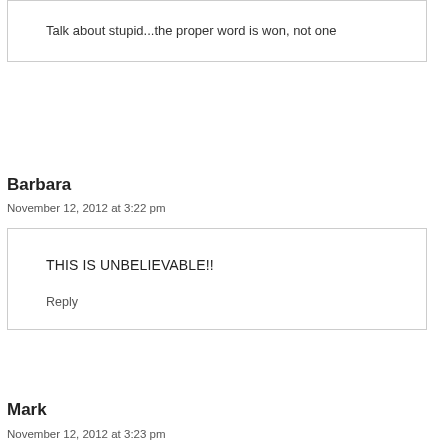Talk about stupid...the proper word is won, not one
Barbara
November 12, 2012 at 3:22 pm
THIS IS UNBELIEVABLE!!
Reply
Mark
November 12, 2012 at 3:23 pm